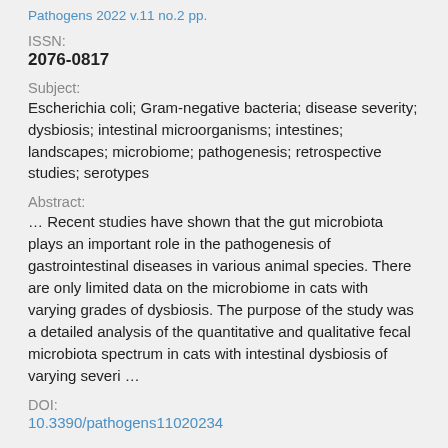Pathogens 2022 v.11 no.2 pp.
ISSN:
2076-0817
Subject:
Escherichia coli; Gram-negative bacteria; disease severity; dysbiosis; intestinal microorganisms; intestines; landscapes; microbiome; pathogenesis; retrospective studies; serotypes
Abstract:
… Recent studies have shown that the gut microbiota plays an important role in the pathogenesis of gastrointestinal diseases in various animal species. There are only limited data on the microbiome in cats with varying grades of dysbiosis. The purpose of the study was a detailed analysis of the quantitative and qualitative fecal microbiota spectrum in cats with intestinal dysbiosis of varying severi …
DOI:
10.3390/pathogens11020234